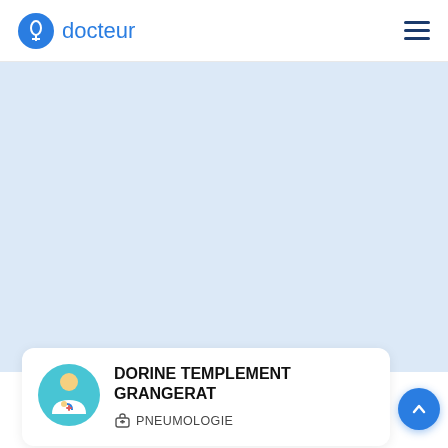docteur
[Figure (illustration): Light blue background/hero area placeholder]
DORINE TEMPLEMENT GRANGERAT
PNEUMOLOGIE